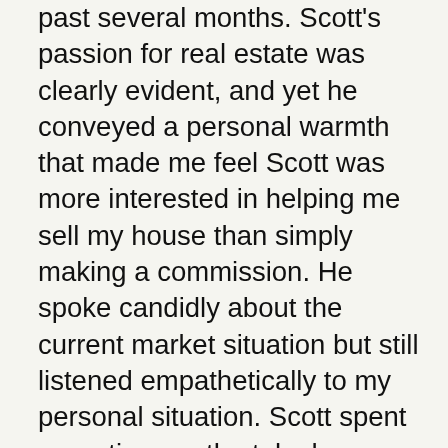past several months. Scott's passion for real estate was clearly evident, and yet he conveyed a personal warmth that made me feel Scott was more interested in helping me sell my house than simply making a commission. He spoke candidly about the current market situation but still listened empathetically to my personal situation. Scott spent more time on the telephone with me during that first phone call than either of my previous agents had ever spent with me in person. I was delighted when in less 48 hours, Scott had my house re-listed with new photographs, a new price, and a perfectly written description. Scott kept me engaged throughout the entire listing process by eliciting my feedback and approval. It was clear that Scott understood the frustration of being an out-of-state seller and his efforts to keep me included in the process were exceptionally comforting. Scott returned every telephone call either immediately or before the end of his long working day. During the telephone calls that came after 6:00 p.m., Scott still projected enthusiasm and